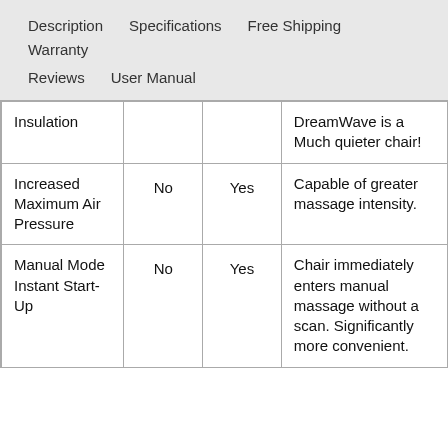Description  Specifications  Free Shipping  Warranty  Reviews  User Manual
|  |  |  |  |
| --- | --- | --- | --- |
| Insulation |  |  | DreamWave is a Much quieter chair! |
| Increased Maximum Air Pressure | No | Yes | Capable of greater massage intensity. |
| Manual Mode Instant Start-Up | No | Yes | Chair immediately enters manual massage without a scan. Significantly more convenient. |